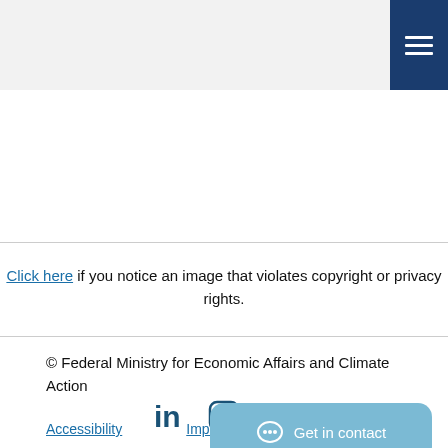[Header with navigation menu button]
Click here if you notice an image that violates copyright or privacy rights.
© Federal Ministry for Economic Affairs and Climate Action
[Figure (other): Social media icons: LinkedIn, Instagram, Twitter in dark teal color]
Accessibility   Imprint   Privacy
[Figure (other): Get in contact chat bubble button in light blue]